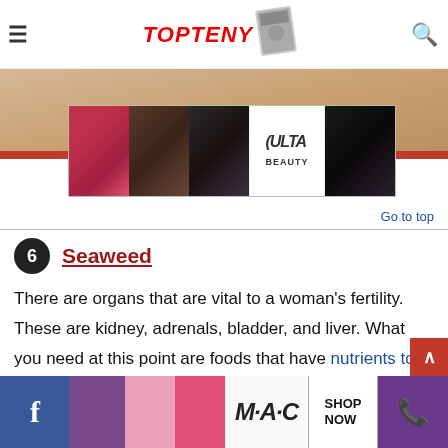TopTeny
[Figure (photo): Ulta beauty advertisement banner with makeup images and SHOP NOW call to action]
Go to top
6 Seaweed
There are organs that are vital to a woman's fertility. These are kidney, adrenals, bladder, and liver. What you need at this point are foods that have nutrients to make these organs healthy. Such is where [CLOSE] ill
[Figure (photo): MAC cosmetics advertisement banner with lipstick images and SHOP NOW call to action]